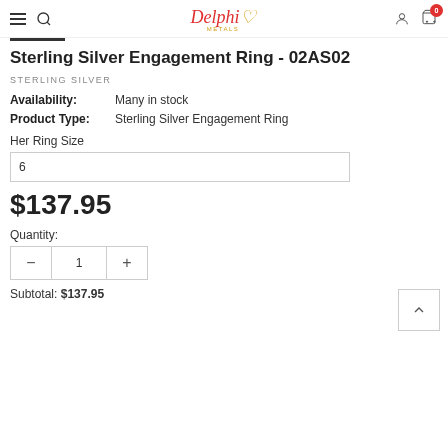Delphi Metals navigation bar
Sterling Silver Engagement Ring - 02AS02
STERLING SILVER
Availability: Many in stock
Product Type: Sterling Silver Engagement Ring
Her Ring Size
6
$137.95
Quantity:
1
Subtotal: $137.95